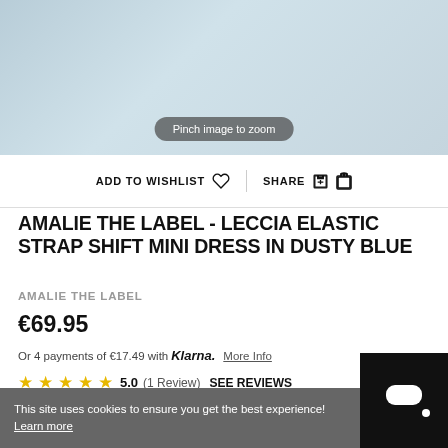[Figure (photo): Cropped product photo of a dusty blue mini dress worn by a model, with a 'Pinch image to zoom' pill overlay]
ADD TO WISHLIST  SHARE
AMALIE THE LABEL - LECCIA ELASTIC STRAP SHIFT MINI DRESS IN DUSTY BLUE
AMALIE THE LABEL
€69.95
Or 4 payments of €17.49 with Klarna. More Info
★★★★★ 5.0 (1 Review) SEE REVIEWS
This site uses cookies to ensure you get the best experience! Learn more